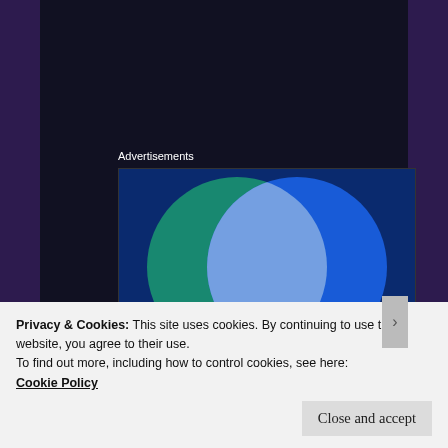Advertisements
[Figure (illustration): Venn diagram advertisement showing two overlapping circles: left circle teal/green with text 'Everything you need', right circle blue with text 'Anything you want', overlapping area in light blue/white gradient, on dark blue background]
Little has been said about the future at this point, but I'm hopeful and the biggest talking
Privacy & Cookies: This site uses cookies. By continuing to use this website, you agree to their use.
To find out more, including how to control cookies, see here:
Cookie Policy
Close and accept